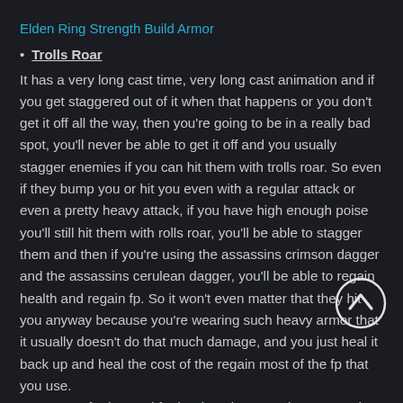Elden Ring Strength Build Armor
Trolls Roar
It has a very long cast time, very long cast animation and if you get staggered out of it when that happens or you don't get it off all the way, then you're going to be in a really bad spot, you'll never be able to get it off and you usually stagger enemies if you can hit them with trolls roar. So even if they bump you or hit you even with a regular attack or even a pretty heavy attack, if you have high enough poise you'll still hit them with rolls roar, you'll be able to stagger them and then if you're using the assassins crimson dagger and the assassins cerulean dagger, you'll be able to regain health and regain fp. So it won't even matter that they hit you anyway because you're wearing such heavy armor that it usually doesn't do that much damage, and you just heal it back up and heal the cost of the regain most of the fp that you use.
As you get further and further into the game bosses tend to do